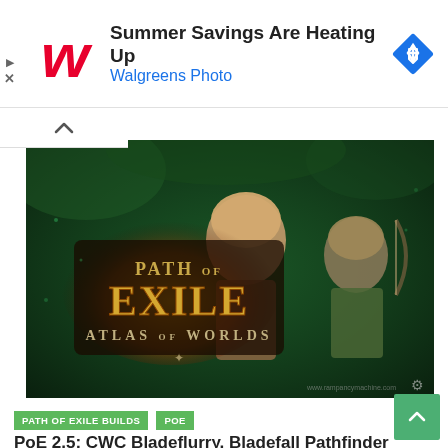[Figure (infographic): Walgreens advertisement banner: Walgreens red script W logo on left, text 'Summer Savings Are Heating Up' in bold black and 'Walgreens Photo' in blue, blue diamond navigation icon on right. Small play and X icons on far left.]
[Figure (photo): Path of Exile Atlas of Worlds game artwork showing two female archer characters on a dark green forest background with the game logo 'PATH OF EXILE ATLAS OF WORLDS' prominently displayed.]
PATH OF EXILE BUILDS
POE
PoE 2.5: CWC Bladeflurry, Bladefall Pathfinder Build (Mathil)
12/20/2016  Gmachine